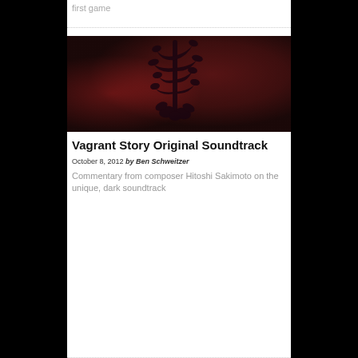first game
[Figure (illustration): Dark red and black album art showing an ornate floral/vine design silhouette against a deep red and dark background — cover art for Vagrant Story Original Soundtrack]
Vagrant Story Original Soundtrack
October 8, 2012 by Ben Schweitzer
Commentary from composer Hitoshi Sakimoto on the unique, dark soundtrack